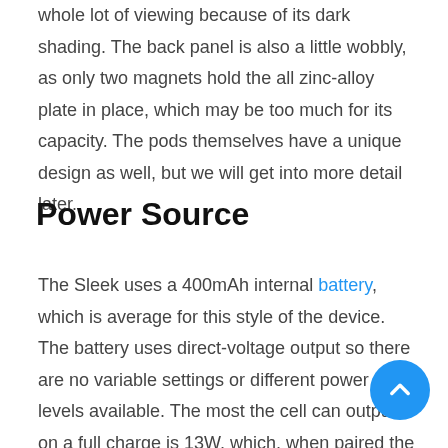whole lot of viewing because of its dark shading. The back panel is also a little wobbly, as only two magnets hold the all zinc-alloy plate in place, which may be too much for its capacity. The pods themselves have a unique design as well, but we will get into more detail later.
Power Source
The Sleek uses a 400mAh internal battery, which is average for this style of the device. The battery uses direct-voltage output so there are no variable settings or different power levels available. The most the cell can output on a full charge is 13W, which, when paired the 0.8ohm coil in the vape, can make for a satisfy of direct-lung and mouth-to-lung vaping.